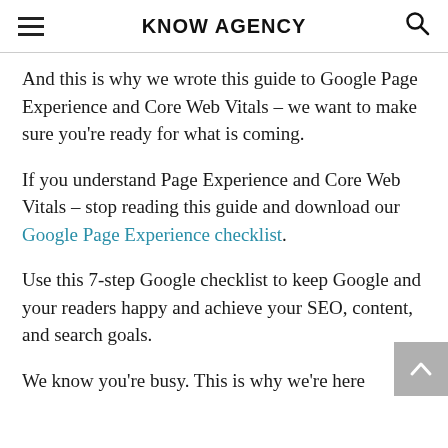KNOW AGENCY
And this is why we wrote this guide to Google Page Experience and Core Web Vitals – we want to make sure you're ready for what is coming.
If you understand Page Experience and Core Web Vitals – stop reading this guide and download our Google Page Experience checklist.
Use this 7-step Google checklist to keep Google and your readers happy and achieve your SEO, content, and search goals.
We know you're busy. This is why we're here